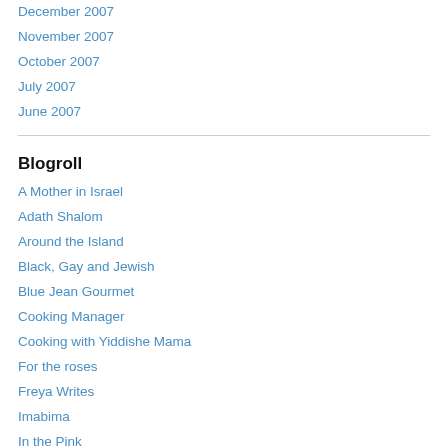December 2007
November 2007
October 2007
July 2007
June 2007
Blogroll
A Mother in Israel
Adath Shalom
Around the Island
Black, Gay and Jewish
Blue Jean Gourmet
Cooking Manager
Cooking with Yiddishe Mama
For the roses
Freya Writes
Imabima
In the Pink